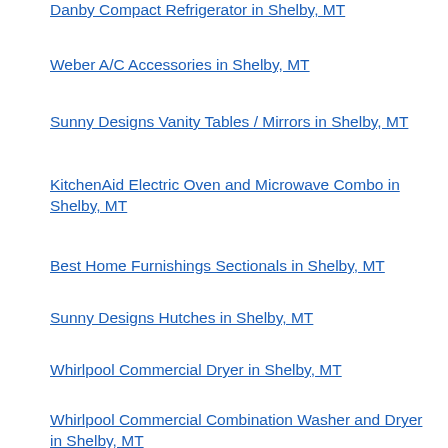Danby Compact Refrigerator in Shelby, MT
Weber A/C Accessories in Shelby, MT
Sunny Designs Vanity Tables / Mirrors in Shelby, MT
KitchenAid Electric Oven and Microwave Combo in Shelby, MT
Best Home Furnishings Sectionals in Shelby, MT
Sunny Designs Hutches in Shelby, MT
Whirlpool Commercial Dryer in Shelby, MT
Whirlpool Commercial Combination Washer and Dryer in Shelby, MT
Maytag Ductless Hood in Shelby, MT
International Furniture Direct Dining Room Groupsets in Shelby, MT
Sunny Designs Chests in Shelby, MT
Weber Lp Gas BBQ in Shelby, MT